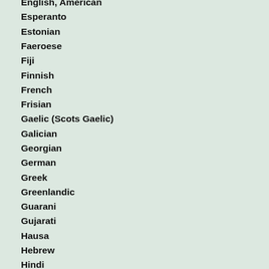English, American
Esperanto
Estonian
Faeroese
Fiji
Finnish
French
Frisian
Gaelic (Scots Gaelic)
Galician
Georgian
German
Greek
Greenlandic
Guarani
Gujarati
Hausa
Hebrew
Hindi
Hungarian
Icelandic
Indonesian
Interlingua
Interlingue